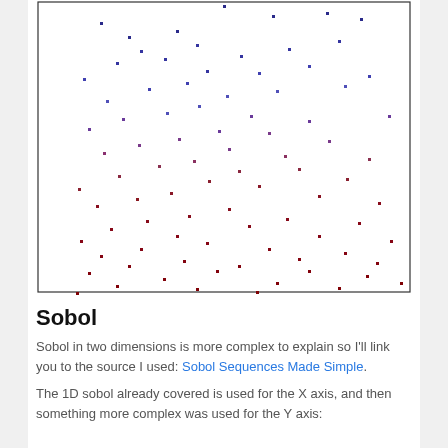[Figure (continuous-plot): Scatter plot showing a quasi-random (Sobol) sequence of points in 2D. Points are colored from dark blue/navy at the top transitioning to dark red/crimson toward the bottom, indicating progression of the sequence. Points appear to fill the space more uniformly than random noise.]
Sobol
Sobol in two dimensions is more complex to explain so I'll link you to the source I used: Sobol Sequences Made Simple.
The 1D sobol already covered is used for the X axis, and then something more complex was used for the Y axis: